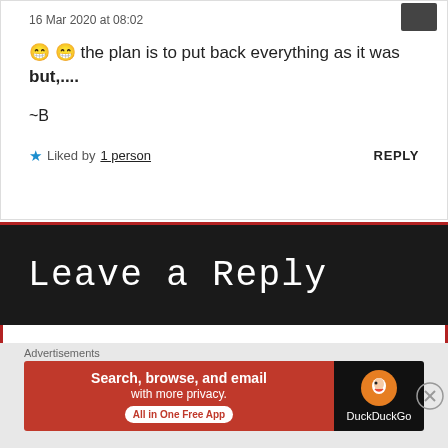16 Mar 2020 at 08:02
😁 😁 the plan is to put back everything as it was but,....
~B
★ Liked by 1 person   REPLY
Leave a Reply
Your email address will not be published. Required fields are marked *
[Figure (infographic): DuckDuckGo advertisement banner: orange left panel with text 'Search, browse, and email with more privacy. All in One Free App', dark right panel with DuckDuckGo logo and name.]